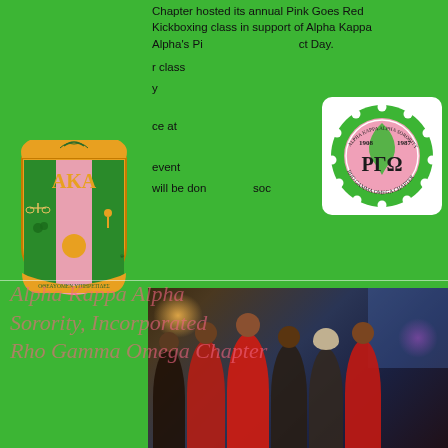Chapter hosted its annual Pink Goes Red Kickboxing class in support of Alpha Kappa Alpha's Pink Goes Red Impact Day. [the] class ... at ... event will be don...soc
[Figure (logo): Alpha Kappa Alpha Sorority shield/crest logo with green and gold colors, Greek text OΘEAYOMEN YΠIHPETIΔEΣ at bottom]
[Figure (logo): Rho Gamma Omega Chapter circular emblem — pink and green circle with Greek letters Rho Gamma Omega (ΡΓΩ) and dates 1908-1987, white pearl border]
Alpha Kappa Alpha Sorority, Incorporated Rho Gamma Omega Chapter
[Figure (photo): Group photo of women in a restaurant/bar setting at night, most wearing red, smiling at camera]